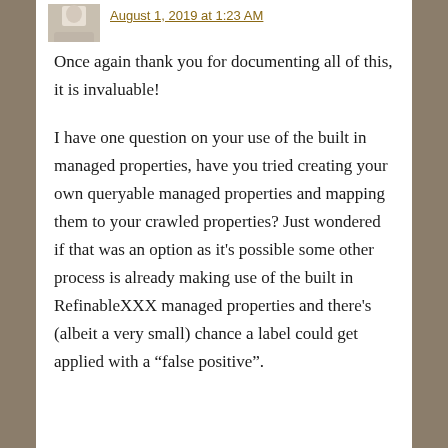August 1, 2019 at 1:23 AM
Once again thank you for documenting all of this, it is invaluable!
I have one question on your use of the built in managed properties, have you tried creating your own queryable managed properties and mapping them to your crawled properties? Just wondered if that was an option as it’s possible some other process is already making use of the built in RefinableXXX managed properties and there’s (albeit a very small) chance a label could get applied with a “false positive”.